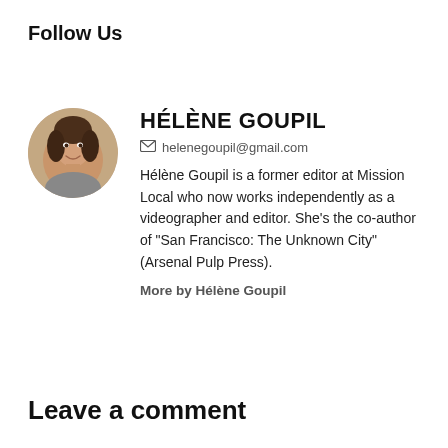Follow Us
[Figure (photo): Circular portrait photo of Hélène Goupil, a woman with dark hair, smiling]
HÉLÈNE GOUPIL
helenegoupil@gmail.com
Hélène Goupil is a former editor at Mission Local who now works independently as a videographer and editor. She's the co-author of "San Francisco: The Unknown City"(Arsenal Pulp Press).
More by Hélène Goupil
Leave a comment